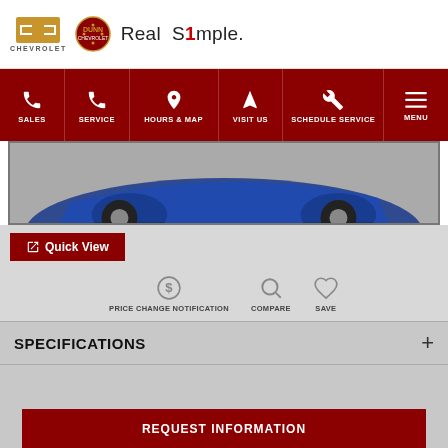[Figure (logo): Chevrolet bowtie logo and Dunn Chevrolet badge with 'Real Simple.' tagline]
[Figure (infographic): Navigation bar with icons: Sales (phone), Service (phone), Hours & Map (location pin), Visit Us (navigation arrow), Schedule Service (wrench), Menu (hamburger)]
[Figure (photo): Partial view of blue Chevrolet car front end on grey background]
Quick View
PRICE CHANGE NOTIFICATION
COMPARE
SAVE
SPECIFICATIONS
REQUEST INFORMATION